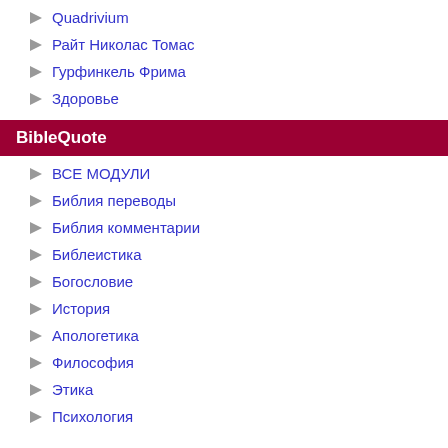Quadrivium
Райт Николас Томас
Гурфинкель Фрима
Здоровье
BibleQuote
ВСЕ МОДУЛИ
Библия переводы
Библия комментарии
Библеистика
Богословие
История
Апологетика
Философия
Этика
Психология